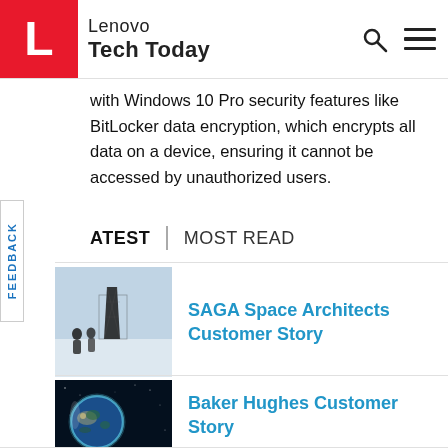Lenovo Tech Today
with Windows 10 Pro security features like BitLocker data encryption, which encrypts all data on a device, ensuring it cannot be accessed by unauthorized users.
LATEST | MOST READ
[Figure (photo): Two people standing in snow with a large dark structure behind them, outdoor winter scene]
SAGA Space Architects Customer Story
[Figure (photo): Planet Earth viewed from space with glowing atmosphere and city lights]
Baker Hughes Customer Story